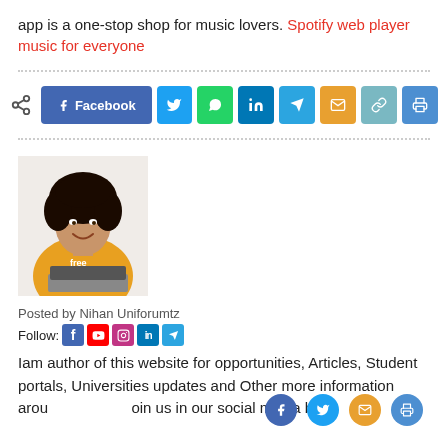app is a one-stop shop for music lovers. Spotify web player music for everyone
[Figure (other): Social share bar with icons: share icon, Facebook, Twitter, WhatsApp, LinkedIn, Telegram, Email, Link, Print]
[Figure (photo): Photo of a woman with curly hair wearing a yellow hoodie, smiling while using a laptop]
Posted by Nihan Uniforumtz
Follow: [social media icons for Facebook, YouTube, Instagram, LinkedIn, Telegram]
Iam author of this website for opportunities, Articles, Student portals, Universities updates and Other more information arou...oin us in our social media bel...